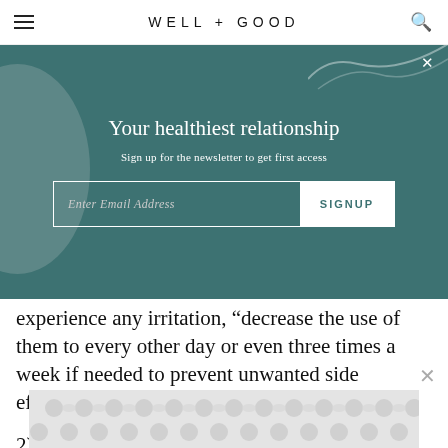WELL + GOOD
[Figure (infographic): Newsletter signup overlay on teal/dark green background with decorative circle and wave. Title: 'Your healthiest relationship'. Subtitle: 'Sign up for the newsletter to get first access'. Email input field with SIGNUP button.]
experience any irritation, “decrease the use of them to every other day or even three times a week if needed to prevent unwanted side effects,” she says.
2) Overcleanse
While keeping your skin clean is necessary to manage
[Figure (other): Advertisement banner with repeating circular pattern in light gray]